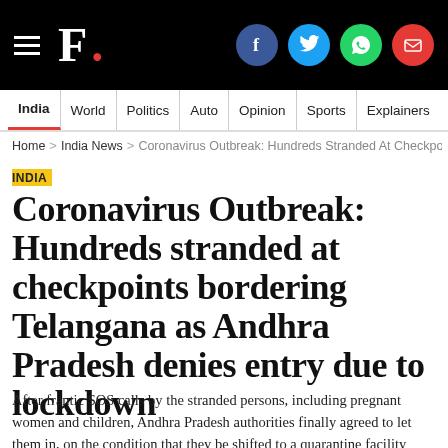F. [Firstpost logo with social icons: Facebook, Twitter, WhatsApp, Email]
India | World | Politics | Auto | Opinion | Sports | Explainers
Home > India News > Coronavirus Outbreak: Hundreds Stranded At Checkpoi...
INDIA
Coronavirus Outbreak: Hundreds stranded at checkpoints bordering Telangana as Andhra Pradesh denies entry due to lockdown
After frantic SOS calls by the stranded persons, including pregnant women and children, Andhra Pradesh authorities finally agreed to let them in, on the condition that they be shifted to a quarantine facility